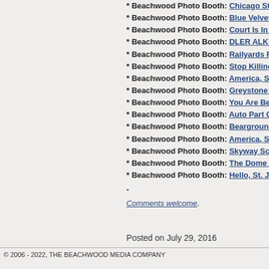* Beachwood Photo Booth: Chicago Stairwell.
* Beachwood Photo Booth: Blue Velvet.
* Beachwood Photo Booth: Court Is In Session.
* Beachwood Photo Booth: DLER ALKY.
* Beachwood Photo Booth: Railyards Rush Hour.
* Beachwood Photo Booth: Stop Killing People.
* Beachwood Photo Booth: America, Summer 201...
* Beachwood Photo Booth: Greystone Chicago.
* Beachwood Photo Booth: You Are Beautiful.
* Beachwood Photo Booth: Auto Part Overlords.
* Beachwood Photo Booth: Bearground.
* Beachwood Photo Booth: America, Summer 201...
* Beachwood Photo Booth: Skyway Sculpture.
* Beachwood Photo Booth: The Dome Car.
* Beachwood Photo Booth: Hello, St. Joe.
-
Comments welcome.
Posted on July 29, 2016
© 2006 - 2022, THE BEACHWOOD MEDIA COMPANY